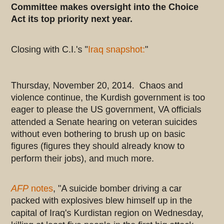Committee makes oversight into the Choice Act its top priority next year.
Closing with C.I.'s "Iraq snapshot:"
Thursday, November 20, 2014.  Chaos and violence continue, the Kurdish government is too eager to please the US government, VA officials attended a Senate hearing on veteran suicides without even bothering to brush up on basic figures (figures they should already know to perform their jobs), and much more.
AFP notes, "A suicide bomber driving a car packed with explosives blew himself up in the capital of Iraq's Kurdistan region on Wednesday, killing at least five people in the first big attack there in more than a year."